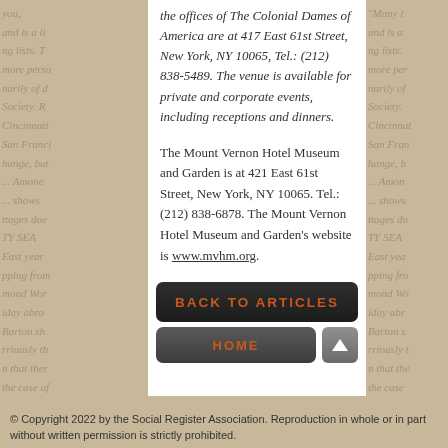the offices of The Colonial Dames of America are at 417 East 61st Street, New York, NY 10065, Tel.: (212) 838-5489. The venue is available for private and corporate events, including receptions and dinners.
The Mount Vernon Hotel Museum and Garden is at 421 East 61st Street, New York, NY 10065. Tel.: (212) 838-6878. The Mount Vernon Hotel Museum and Garden's website is www.mvhm.org.
[Figure (other): Dark button labeled BACK TO ARTICLES in orange text]
[Figure (other): Dark button labeled HOME in orange text, and a grey up-arrow button to the right]
© Copyright 2022 by the Social Register Association. Reproduction in whole or in part without written permission is strictly prohibited.